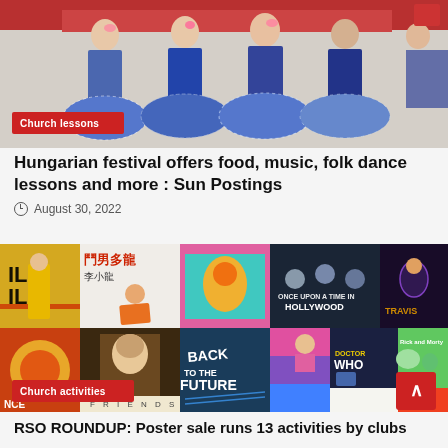[Figure (photo): Group of people in folk costumes (blue/white striped wide skirts) standing together, with a red 'Church lessons' badge overlay in lower left]
Hungarian festival offers food, music, folk dance lessons and more : Sun Postings
August 30, 2022
[Figure (photo): Collage of various pop culture posters including Kill Bill, Enter the Dragon, Once Upon a Time in Hollywood, Back to the Future, Doctor Who, Rick and Morty, Friends, Travis Scott, and others. 'Church activities' badge overlay in lower left, red back-to-top button in lower right.]
RSO ROUNDUP: Poster sale runs 13 activities by clubs